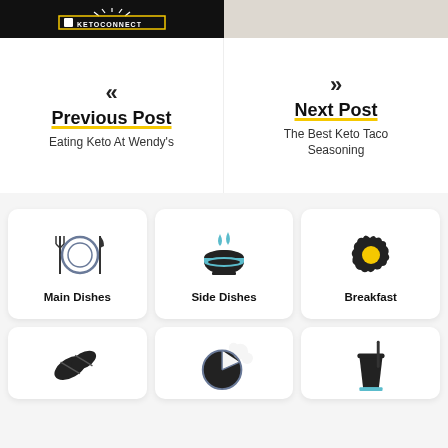[Figure (photo): Dark background image with KetoConnect logo on left side]
[Figure (photo): Light colored photo on right side]
« Previous Post
Eating Keto At Wendy's
» Next Post
The Best Keto Taco Seasoning
[Figure (illustration): Main Dishes icon - plate with fork and knife]
Main Dishes
[Figure (illustration): Side Dishes icon - bowl with leaves]
Side Dishes
[Figure (illustration): Breakfast icon - fried egg]
Breakfast
[Figure (illustration): Coffee beans icon]
[Figure (illustration): Pie/taco icon]
[Figure (illustration): Drink cup icon]